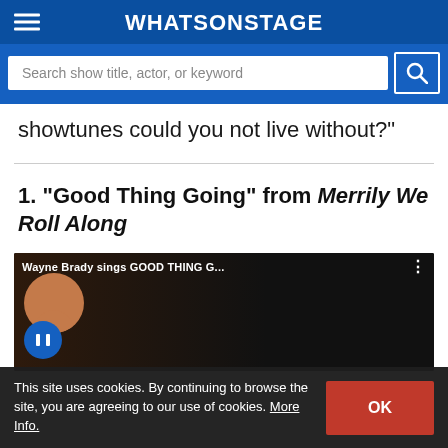WhatsOnStage
Search show title, actor, or keyword
showtunes could you not live without?"
1. "Good Thing Going" from Merrily We Roll Along
[Figure (screenshot): YouTube video thumbnail showing Wayne Brady sings GOOD THING G... with play button and channel icon]
This site uses cookies. By continuing to browse the site, you are agreeing to our use of cookies. More Info.